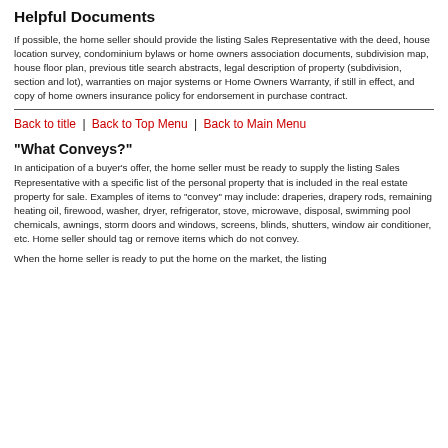Helpful Documents
If possible, the home seller should provide the listing Sales Representative with the deed, house location survey, condominium bylaws or home owners association documents, subdivision map, house floor plan, previous title search abstracts, legal description of property (subdivision, section and lot), warranties on major systems or Home Owners Warranty, if still in effect, and copy of home owners insurance policy for endorsement in purchase contract.
Back to title | Back to Top Menu | Back to Main Menu
"What Conveys?"
In anticipation of a buyer's offer, the home seller must be ready to supply the listing Sales Representative with a specific list of the personal property that is included in the real estate property for sale. Examples of items to "convey" may include: draperies, drapery rods, remaining heating oil, firewood, washer, dryer, refrigerator, stove, microwave, disposal, swimming pool chemicals, awnings, storm doors and windows, screens, blinds, shutters, window air conditioner, etc. Home seller should tag or remove items which do not convey.
When the home seller is ready to put the home on the market, the listing